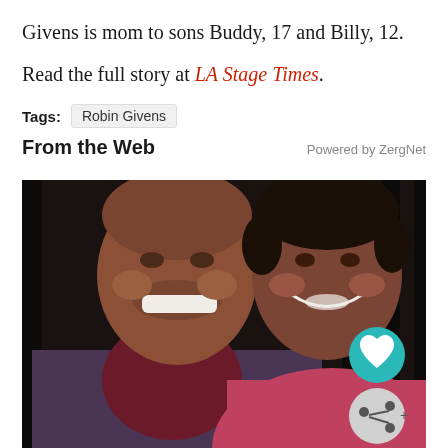Givens is mom to sons Buddy, 17 and Billy, 12.
Read the full story at LA Stage Times.
Tags: Robin Givens
From the Web
Powered by ZergNet
[Figure (photo): A man and a woman smiling together. The man is tall, wearing a dark maroon turtleneck and a blue/maroon blazer. The woman is to his right, wearing a pink/red top, with short dark hair. Background appears to be an indoor setting with vertical dark panels. Social action buttons (heart/like and share) are visible in the bottom right corner.]